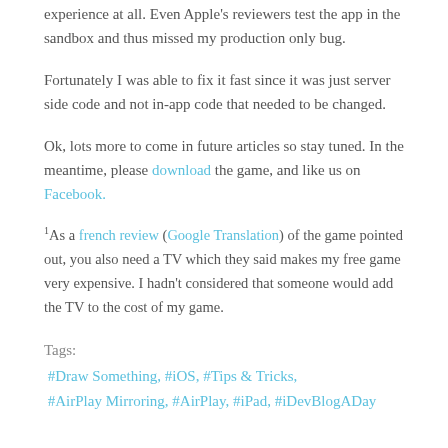experience at all. Even Apple's reviewers test the app in the sandbox and thus missed my production only bug.
Fortunately I was able to fix it fast since it was just server side code and not in-app code that needed to be changed.
Ok, lots more to come in future articles so stay tuned. In the meantime, please download the game, and like us on Facebook.
1As a french review (Google Translation) of the game pointed out, you also need a TV which they said makes my free game very expensive. I hadn't considered that someone would add the TV to the cost of my game.
Tags:
#Draw Something, #iOS, #Tips & Tricks, #AirPlay Mirroring, #AirPlay, #iPad, #iDevBlogADay